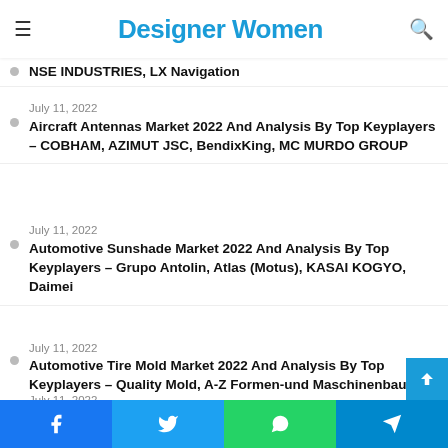Designer Women
Analysis By Top Keyplayers – Garmin International, Appareo Systems, NSE INDUSTRIES, LX Navigation
July 11, 2022 | Aircraft Antennas Market 2022 And Analysis By Top Keyplayers – COBHAM, AZIMUT JSC, BendixKing, MC MURDO GROUP
July 11, 2022 | Automotive Sunshade Market 2022 And Analysis By Top Keyplayers – Grupo Antolin, Atlas (Motus), KASAI KOGYO, Daimei
July 11, 2022 | Automotive Tire Mold Market 2022 And Analysis By Top Keyplayers – Quality Mold, A-Z Formen-und Maschinenbau, HERBERT Maschinenbau, SAEHWA IMC
July 11, 2022 | Commercial Vehicle ...